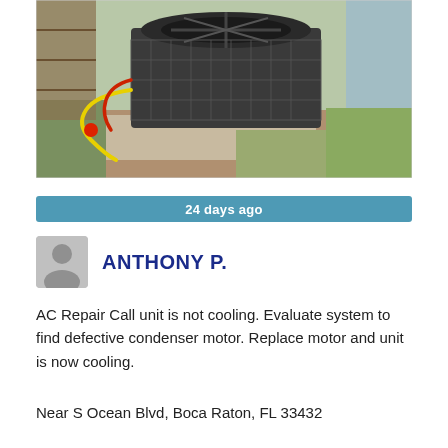[Figure (photo): Outdoor HVAC condenser unit sitting on a concrete pad surrounded by dirt and grass, with refrigerant hoses attached. Viewed from above at an angle.]
24 days ago
ANTHONY P.
AC Repair Call unit is not cooling. Evaluate system to find defective condenser motor. Replace motor and unit is now cooling.
Near S Ocean Blvd, Boca Raton, FL 33432